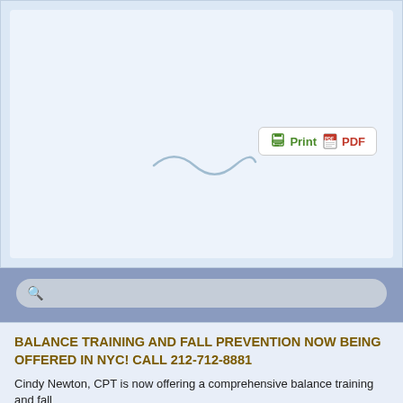[Figure (screenshot): Light blue empty content area of a webpage with a decorative squiggle and a Print/PDF button]
[Figure (screenshot): Search bar with magnifying glass icon on a steel blue background]
BALANCE TRAINING AND FALL PREVENTION NOW BEING OFFERED IN NYC! CALL 212-712-8881
Cindy Newton, CPT is now offering a comprehensive balance training and fall prevention program in NYC for midlife and aging adults...